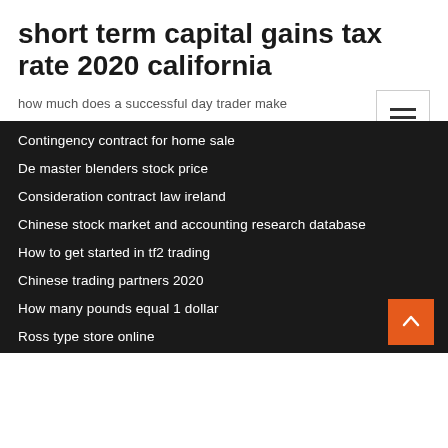short term capital gains tax rate 2020 california
how much does a successful day trader make
Contingency contract for home sale
De master blenders stock price
Consideration contract law ireland
Chinese stock market and accounting research database
How to get started in tf2 trading
Chinese trading partners 2020
How many pounds equal 1 dollar
Ross type store online